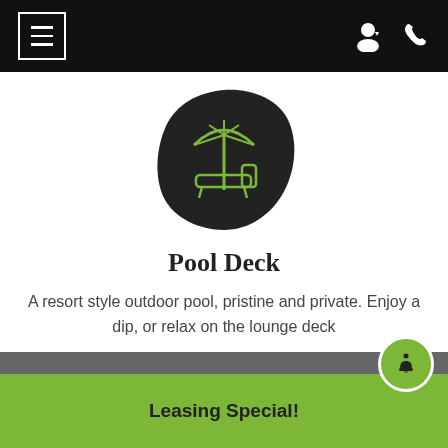Navigation header with hamburger menu, person icon, and phone icon
[Figure (illustration): Dark blob-shaped icon containing a green outlined beach umbrella and lounge chair]
Pool Deck
A resort style outdoor pool, pristine and private. Enjoy a dip, or relax on the lounge deck
VIEW ALL AMENITIES
Leasing Special!